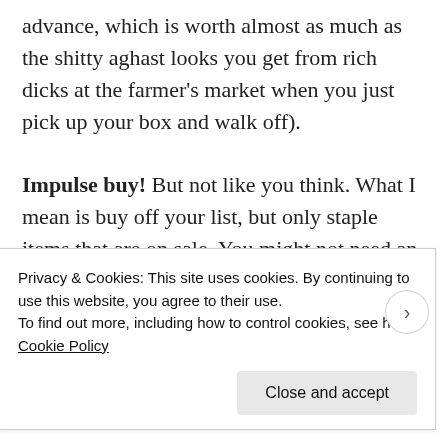advance, which is worth almost as much as the shitty aghast looks you get from rich dicks at the farmer's market when you just pick up your box and walk off).

Impulse buy! But not like you think. What I mean is buy off your list, but only staple items that are on sale. You might not need an extra can of tomatoes or bag of beans or can of fancy Italian tuna now, but you will need them someday, and in this past week alone, I have
Privacy & Cookies: This site uses cookies. By continuing to use this website, you agree to their use.
To find out more, including how to control cookies, see here: Cookie Policy
Close and accept